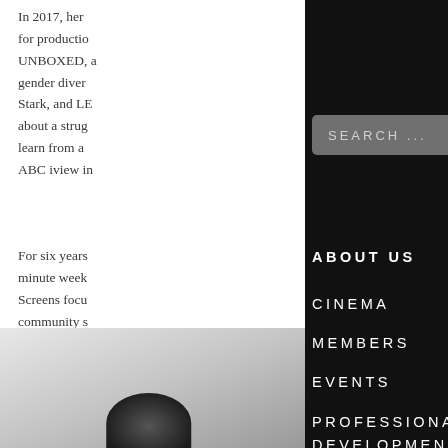In 2017, her for production UNBOXED, a gender diver Stark, and LE about a strug learn from a ABC iview in
For six years minute week Screens focu community s
[Figure (photo): Black and white photo showing a dark rounded object, possibly a head or helmet, against a light gray background]
SEARCH ...
ABOUT US
CINEMA
MEMBERS
EVENTS
PROFESSIONAL DEVELOPMENT
VENUE HIRE